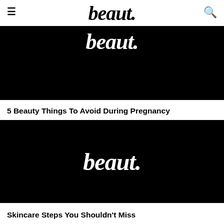beaut.
[Figure (screenshot): Black banner image with white beaut. logo text overlaid, partially visible at top]
5 Beauty Things To Avoid During Pregnancy
[Figure (screenshot): Black banner image with white beaut. logo text centered]
Skincare Steps You Shouldn't Miss